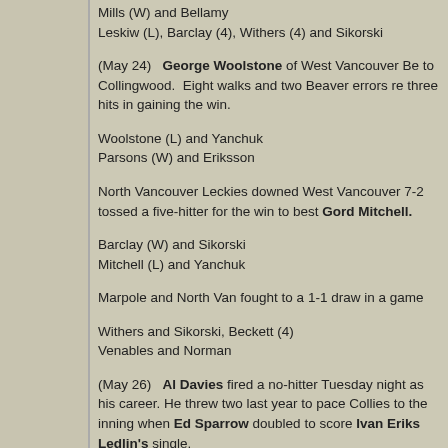Mills (W) and Bellamy
Leskiw (L), Barclay (4), Withers (4) and Sikorski
(May 24)  George Woolstone of West Vancouver Be to Collingwood.  Eight walks and two Beaver errors re three hits in gaining the win.
Woolstone (L) and Yanchuk
Parsons (W) and Eriksson
North Vancouver Leckies downed West Vancouver 7-2 tossed a five-hitter for the win to best Gord Mitchell.
Barclay (W) and Sikorski
Mitchell (L) and Yanchuk
Marpole and North Van fought to a 1-1 draw in a game
Withers and Sikorski, Beckett (4)
Venables and Norman
(May 26)  Al Davies fired a no-hitter Tuesday night as his career. He threw two last year to pace Collies to the inning when Ed Sparrow doubled to score Ivan Eriks Ledlin's single.
Day (L), Moses (6) and Bellamy
Davies (W) and Sparrow
Veteran Roy Lehman made his debut a winning one